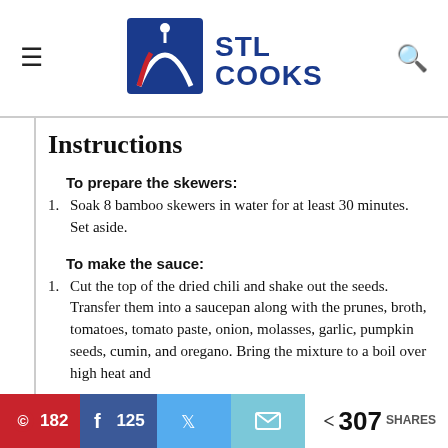STL COOKS
Instructions
To prepare the skewers:
1. Soak 8 bamboo skewers in water for at least 30 minutes. Set aside.
To make the sauce:
1. Cut the top of the dried chili and shake out the seeds. Transfer them into a saucepan along with the prunes, broth, tomatoes, tomato paste, onion, molasses, garlic, pumpkin seeds, cumin, and oregano. Bring the mixture to a boil over high heat and
182 | 125 | Twitter | Email | 307 SHARES